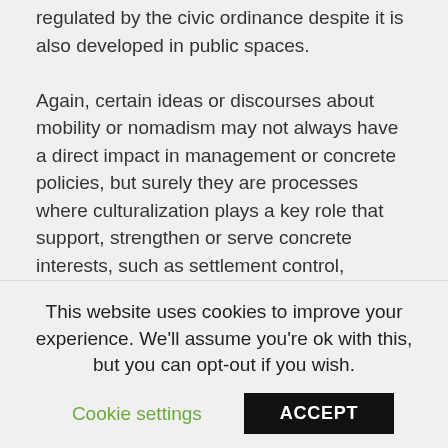regulated by the civic ordinance despite it is also developed in public spaces.

Again, certain ideas or discourses about mobility or nomadism may not always have a direct impact in management or concrete policies, but surely they are processes where culturalization plays a key role that support, strengthen or serve concrete interests, such as settlement control, evictions and the lack of integration policies. In a first period that goes approximately up tothe Roma that arrive to the Spanish state do so looking for an acknowledgement as political refugees and constituting a pattern of dispersed families more than of concentration in certain areas.
This website uses cookies to improve your experience. We'll assume you're ok with this, but you can opt-out if you wish.
Cookie settings    ACCEPT